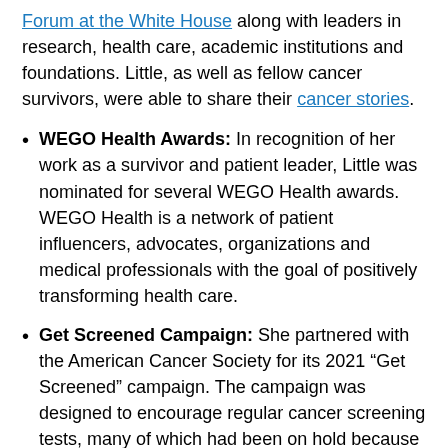Forum at the White House along with leaders in research, health care, academic institutions and foundations. Little, as well as fellow cancer survivors, were able to share their cancer stories.
WEGO Health Awards: In recognition of her work as a survivor and patient leader, Little was nominated for several WEGO Health awards. WEGO Health is a network of patient influencers, advocates, organizations and medical professionals with the goal of positively transforming health care.
Get Screened Campaign: She partnered with the American Cancer Society for its 2021 “Get Screened” campaign. The campaign was designed to encourage regular cancer screening tests, many of which had been on hold because of COVID-19, to boost early detection and help make earlier treatment possible.
Stupid Cancer Panelist: As a speaker on Stupid